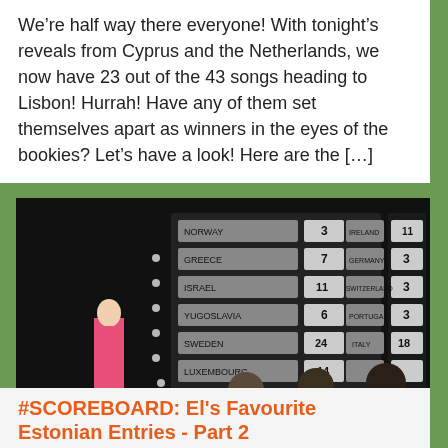We're half way there everyone! With tonight's reveals from Cyprus and the Netherlands, we now have 23 out of the 43 songs heading to Lisbon! Hurrah! Have any of them set themselves apart as winners in the eyes of the bookies? Let's have a look! Here are the [...]
[Figure (photo): Vintage Eurovision scoreboard photo showing a woman in a pink outfit standing next to a large scoreboard with country names and scores. Countries visible include Norway, Greece, Israel, Yugoslavia, Sweden, Luxembourg on the left, and Ireland, Germany, Switzerland, Portugal, Italy on the right.]
#SCOREBOARD: El's Favourite Estonian Entries - Part 2